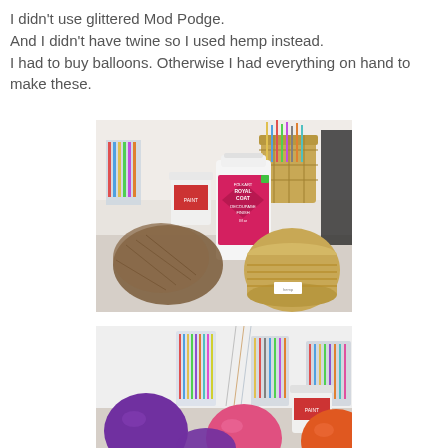I didn't use glittered Mod Podge.
And I didn't have twine so I used hemp instead.
I had to buy balloons. Otherwise I had everything on hand to make these.
[Figure (photo): Photo of craft supplies on a desk: a bag of dried materials, a bottle of FolkArt Royal Coat decoupage finish, and a spool of natural hemp twine. Background shows art supply containers with pencils and colored items.]
[Figure (photo): Photo showing colorful balloons (purple, pink, orange) in the foreground on a desk surface, with art supply containers holding brushes, pencils, and colored items in the background.]